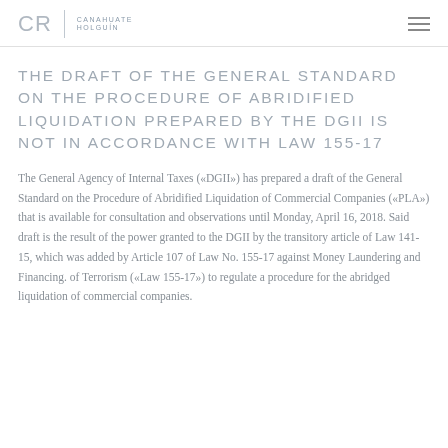CR CANAHUATE HOLGUIN
THE DRAFT OF THE GENERAL STANDARD ON THE PROCEDURE OF ABRIDIFIED LIQUIDATION PREPARED BY THE DGII IS NOT IN ACCORDANCE WITH LAW 155-17
The General Agency of Internal Taxes («DGII») has prepared a draft of the General Standard on the Procedure of Abridified Liquidation of Commercial Companies («PLA») that is available for consultation and observations until Monday, April 16, 2018. Said draft is the result of the power granted to the DGII by the transitory article of Law 141-15, which was added by Article 107 of Law No. 155-17 against Money Laundering and Financing. of Terrorism («Law 155-17») to regulate a procedure for the abridged liquidation of commercial companies.